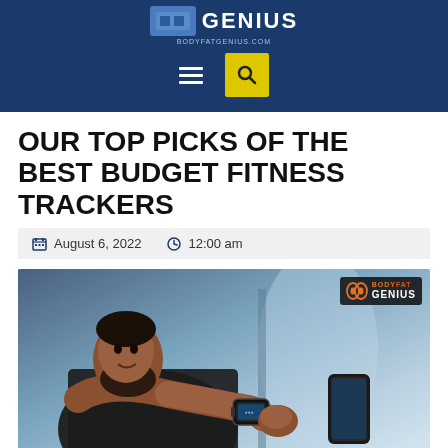BODY FAT GENIUS
OUR TOP PICKS OF THE BEST BUDGET FITNESS TRACKERS
August 6, 2022   12:00 am
[Figure (photo): Man with fitness tracker smartwatch on wrist, holding a smartphone, checking fitness data. Body Fat Genius watermark logo in top right corner.]